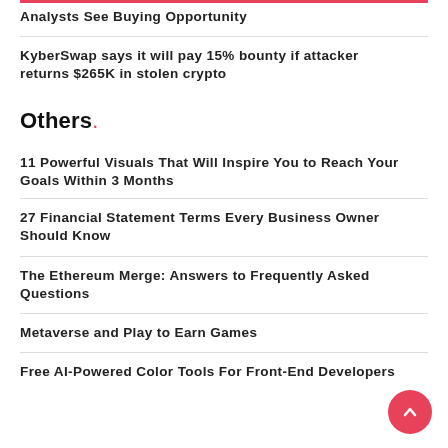Analysts See Buying Opportunity
KyberSwap says it will pay 15% bounty if attacker returns $265K in stolen crypto
Others
11 Powerful Visuals That Will Inspire You to Reach Your Goals Within 3 Months
27 Financial Statement Terms Every Business Owner Should Know
The Ethereum Merge: Answers to Frequently Asked Questions
Metaverse and Play to Earn Games
Free AI-Powered Color Tools For Front-End Developers